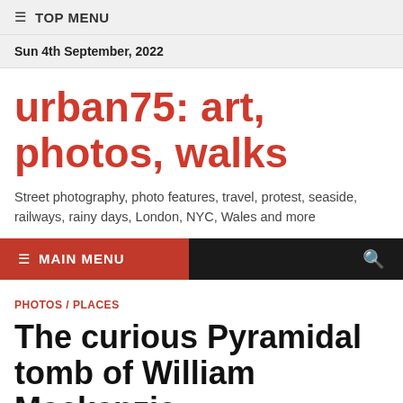≡ TOP MENU
Sun 4th September, 2022
urban75: art, photos, walks
Street photography, photo features, travel, protest, seaside, railways, rainy days, London, NYC, Wales and more
≡ MAIN MENU
PHOTOS / PLACES
The curious Pyramidal tomb of William Mackenzie